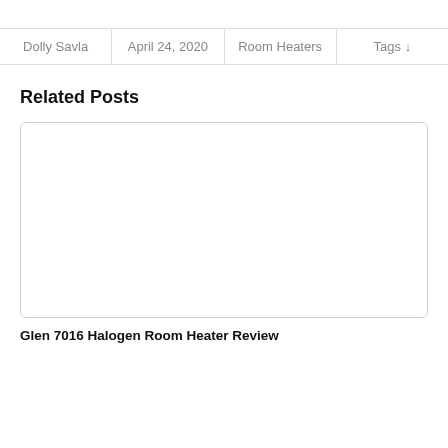Dolly Savla | April 24, 2020 | Room Heaters | Tags ↓
Related Posts
[Figure (other): Empty image placeholder card with rounded border]
Glen 7016 Halogen Room Heater Review